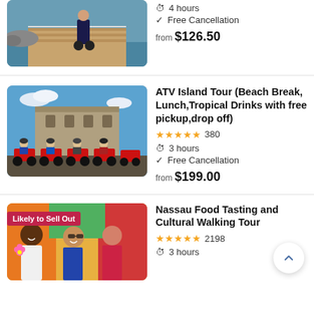[Figure (photo): Partial view of segway tour near waterfront]
4 hours
Free Cancellation
from $126.50
[Figure (photo): Group of people on ATVs in front of stone fort]
ATV Island Tour (Beach Break, Lunch,Tropical Drinks with free pickup,drop off)
★★★★★ 380
3 hours
Free Cancellation
from $199.00
[Figure (photo): Group of people at food tasting event with 'Likely to Sell Out' badge]
Nassau Food Tasting and Cultural Walking Tour
★★★★★ 2198
3 hours